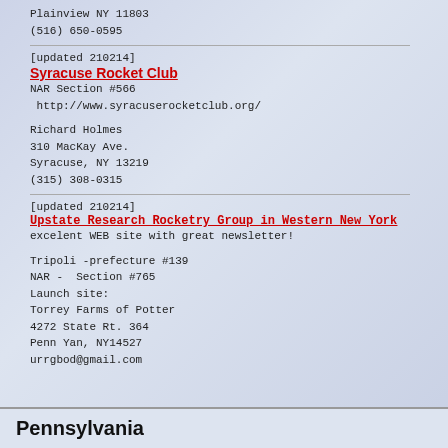Plainview NY 11803
(516) 650-0595
[updated 210214]
Syracuse Rocket Club
NAR Section #566
 http://www.syracuserocketclub.org/
Richard Holmes
310 MacKay Ave.
Syracuse, NY 13219
(315) 308-0315
[updated 210214]
Upstate Research Rocketry Group in Western New York
excelent WEB site with great newsletter!
Tripoli -prefecture #139
NAR -  Section #765
Launch site:
Torrey Farms of Potter
4272 State Rt. 364
Penn Yan, NY14527
urrgbod@gmail.com
Pennsylvania